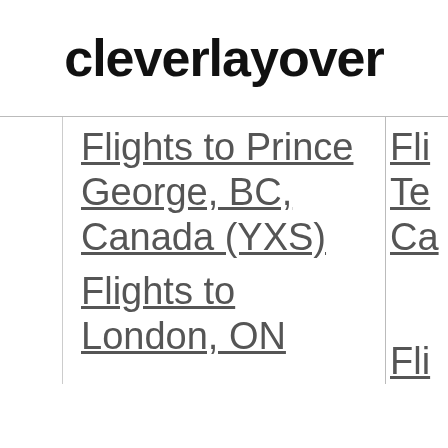cleverlayover
Flights to Prince George, BC, Canada (YXS)
Fli Te Ca
Flights to London, ON
Fli